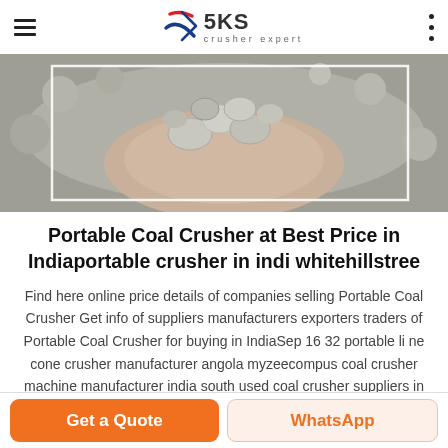SKS crusher expert
[Figure (photo): Hands holding crushed grey stones/gravel with more gravel in background, with white rectangular border overlay]
Portable Coal Crusher at Best Price in Indiaportable crusher in indi whitehillstree
Find here online price details of companies selling Portable Coal Crusher Get info of suppliers manufacturers exporters traders of Portable Coal Crusher for buying in IndiaSep 16 32 portable li ne cone crusher manufacturer angola myzeecompus coal crusher machine manufacturer india south used coal crusher suppliers in Get More Info Copper Mobile Crusher Supplier In
Get a Quote | WhatsApp